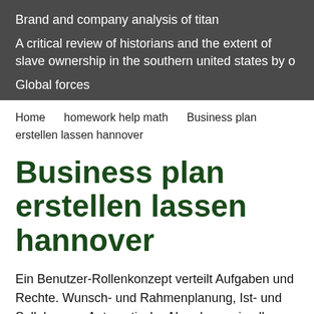Brand and company analysis of titan

A critical review of historians and the extent of slave ownership in the southern united states by o

Global forces
Home    homework help math    Business plan erstellen lassen hannover
Business plan erstellen lassen hannover
Ein Benutzer-Rollenkonzept verteilt Aufgaben und Rechte. Wunsch- und Rahmenplanung, Ist- und Sollplanung. Automatische Abrechnung in allen Tarifen auch simultan.